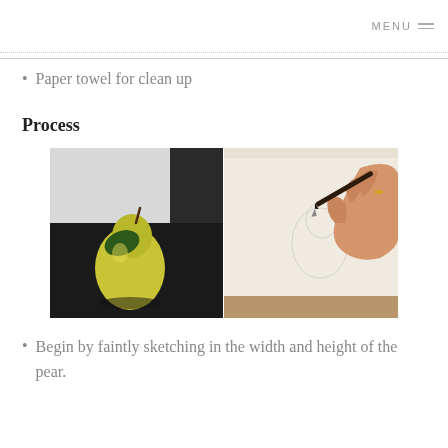MENU
Paper towel for clean up
Process
[Figure (photo): Two-panel image: left panel shows a yellow-green pear on a dark surface with a white backdrop; right panel shows a hand holding a pencil sketching a faint outline on white paper.]
Begin by faintly sketching in the width and height of the pear.